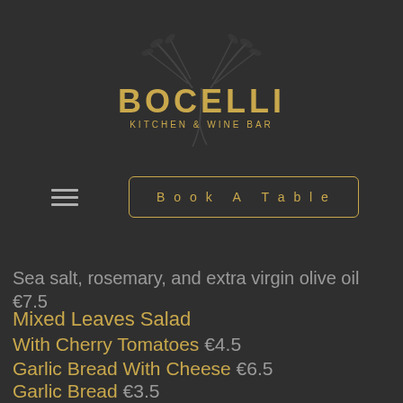[Figure (logo): Bocelli Kitchen & Wine Bar logo with decorative olive branch/leaf graphic above the text]
BOCELLI
KITCHEN & WINE BAR
≡   Book A Table
Sea salt, rosemary, and extra virgin olive oil €7.5
Mixed Leaves Salad
With Cherry Tomatoes €4.5
Garlic Bread With Cheese €6.5
Garlic Bread €3.5
French Fries €4.0
Mixed Marinated Mediterranean Olives €...